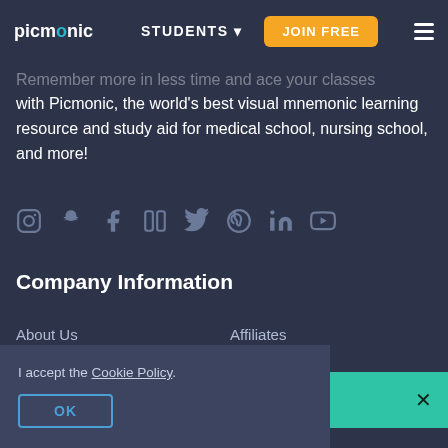picmonic  STUDENTS ▾  JOIN FREE  ≡
Remember more in less time and ace your classes with Picmonic, the world's best visual mnemonic learning resource and study aid for medical school, nursing school, and more!
[Figure (illustration): Row of social media icons: Instagram, Snapchat, Facebook, Facebook, Twitter, Pinterest, LinkedIn, YouTube]
Company Information
About Us
Affiliates
Shelawn just got you 20% off Picmonic!  ×
Contact Us
Creator Community
I accept the Cookie Policy.  OK